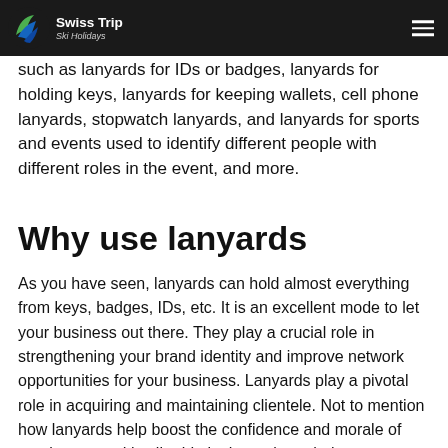Swiss Trip Ski Holidays
you can design lanyards from different fabrics like nylon, polyester, and more. It has additional benefits, such as lanyards for IDs or badges, lanyards for holding keys, lanyards for keeping wallets, cell phone lanyards, stopwatch lanyards, and lanyards for sports and events used to identify different people with different roles in the event, and more.
Why use lanyards
As you have seen, lanyards can hold almost everything from keys, badges, IDs, etc. It is an excellent mode to let your business out there. They play a crucial role in strengthening your brand identity and improve network opportunities for your business. Lanyards play a pivotal role in acquiring and maintaining clientele. Not to mention how lanyards help boost the confidence and morale of employees and instil pride in them about their organization.